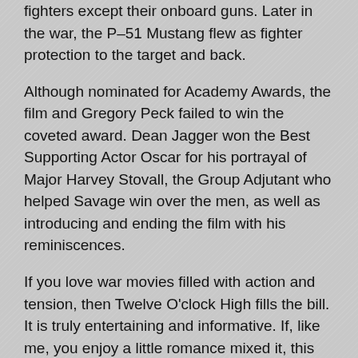fighters except their onboard guns. Later in the war, the P-51 Mustang flew as fighter protection to the target and back.
Although nominated for Academy Awards, the film and Gregory Peck failed to win the coveted award. Dean Jagger won the Best Supporting Actor Oscar for his portrayal of Major Harvey Stovall, the Group Adjutant who helped Savage win over the men, as well as introducing and ending the film with his reminiscences.
If you love war movies filled with action and tension, then Twelve O'clock High fills the bill. It is truly entertaining and informative. If, like me, you enjoy a little romance mixed it, this may not be what you are looking for.
To sign up for my newsletter, click here.